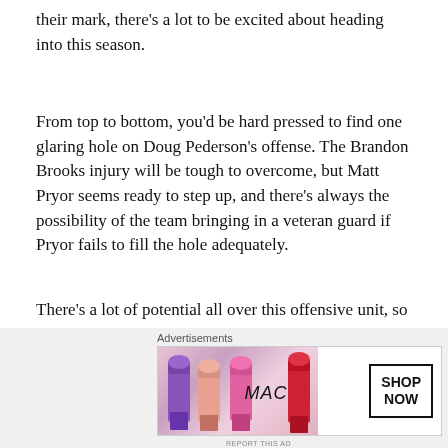their mark, there’s a lot to be excited about heading into this season.
From top to bottom, you’d be hard pressed to find one glaring hole on Doug Pederson’s offense. The Brandon Brooks injury will be tough to overcome, but Matt Pryor seems ready to step up, and there’s always the possibility of the team bringing in a veteran guard if Pryor fails to fill the hole adequately.
There’s a lot of potential all over this offensive unit, so let’s get into some bold predictions for the group as we head into the 2020 campaign.
[Figure (other): MAC cosmetics advertisement banner showing lipsticks in purple, pink, and red shades with MAC logo and SHOP NOW button]